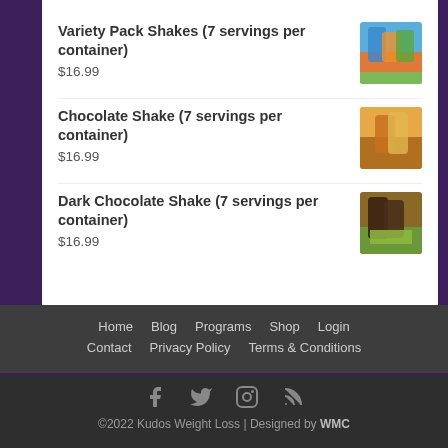Variety Pack Shakes (7 servings per container)
$16.99
Chocolate Shake (7 servings per container)
$16.99
Dark Chocolate Shake (7 servings per container)
$16.99
Home  Blog  Programs  Shop  Login  Contact  Privacy Policy  Terms & Conditions
©2022 Kudos Weight Loss | Designed by WMC